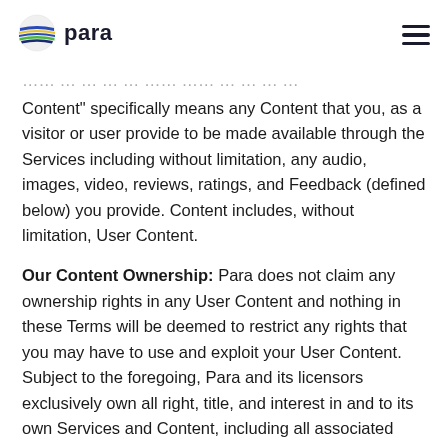para
Content" specifically means any Content that you, as a visitor or user provide to be made available through the Services including without limitation, any audio, images, video, reviews, ratings, and Feedback (defined below) you provide. Content includes, without limitation, User Content.
Our Content Ownership: Para does not claim any ownership rights in any User Content and nothing in these Terms will be deemed to restrict any rights that you may have to use and exploit your User Content. Subject to the foregoing, Para and its licensors exclusively own all right, title, and interest in and to its own Services and Content, including all associated intellectual property rights. You acknowledge that Para's Services and Content are